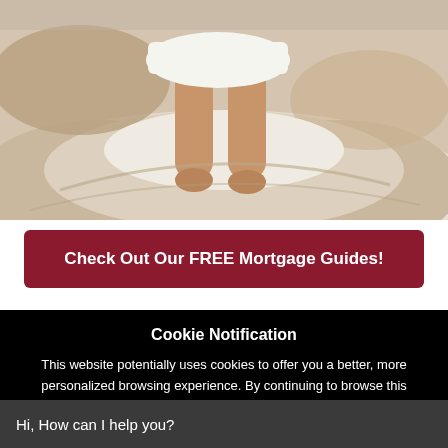[Figure (photo): Person standing on white bed with rumpled bedding, only legs visible from below waist, wearing white dress/skirt]
Check Out Our FREE Mortgage Guides!
Cookie Notification
This website potentially uses cookies to offer you a better, more personalized browsing experience. By continuing to browse this website you agree to our Privacy Policy
close
Hi, How can I help you?